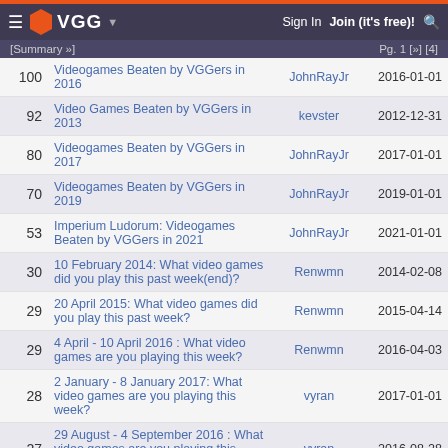VGG — Sign In   Join (it's free)!
[Summary »]   Pg. 1 [»] [4]
| # | Title | User | Date |
| --- | --- | --- | --- |
| 100 | Videogames Beaten by VGGers in 2016 | JohnRayJr | 2016-01-01 |
| 92 | Video Games Beaten by VGGers in 2013 | kevster | 2012-12-31 |
| 80 | Videogames Beaten by VGGers in 2017 | JohnRayJr | 2017-01-01 |
| 70 | Videogames Beaten by VGGers in 2019 | JohnRayJr | 2019-01-01 |
| 53 | Imperium Ludorum: Videogames Beaten by VGGers in 2021 | JohnRayJr | 2021-01-01 |
| 30 | 10 February 2014: What video games did you play this past week(end)? | Renwmn | 2014-02-08 |
| 29 | 20 April 2015: What video games did you play this past week? | Renwmn | 2015-04-14 |
| 29 | 4 April - 10 April 2016 : What video games are you playing this week? | Renwmn | 2016-04-03 |
| 28 | 2 January - 8 January 2017: What video games are you playing this week? | vyran | 2017-01-01 |
| 27 | 29 August - 4 September 2016 : What video games are you playing this week? | vyran | 2016-08-28 |
Statistics